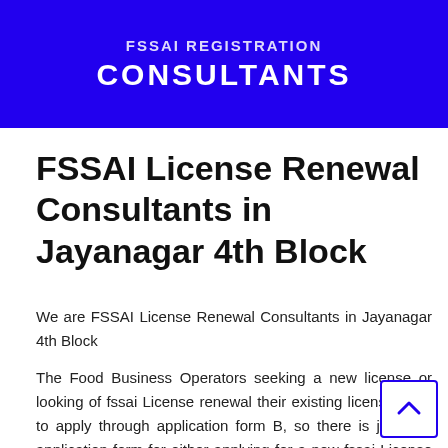[Figure (logo): Blue banner with white bold text reading FSSAI REGISTRATION CONSULTANTS]
FSSAI License Renewal Consultants in Jayanagar 4th Block
We are FSSAI License Renewal Consultants in Jayanagar 4th Block
The Food Business Operators seeking a new license or looking of fssai License renewal their existing license have to apply through application form B, so there is just one application form for either applying for a new fssai License or to renew the